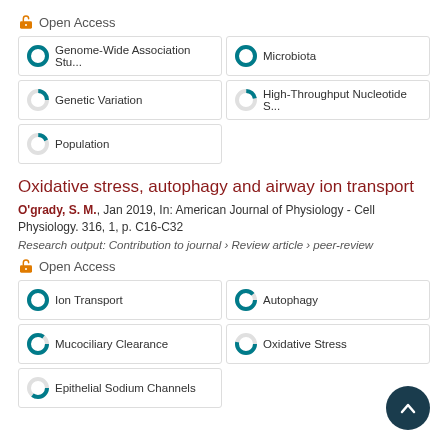[Figure (other): Open Access icon (orange unlock padlock) with 'Open Access' label]
Genome-Wide Association Stu...
Microbiota
Genetic Variation
High-Throughput Nucleotide S...
Population
Oxidative stress, autophagy and airway ion transport
O'grady, S. M., Jan 2019, In: American Journal of Physiology - Cell Physiology. 316, 1, p. C16-C32
Research output: Contribution to journal › Review article › peer-review
[Figure (other): Open Access icon (orange unlock padlock) with 'Open Access' label]
Ion Transport
Autophagy
Mucociliary Clearance
Oxidative Stress
Epithelial Sodium Channels